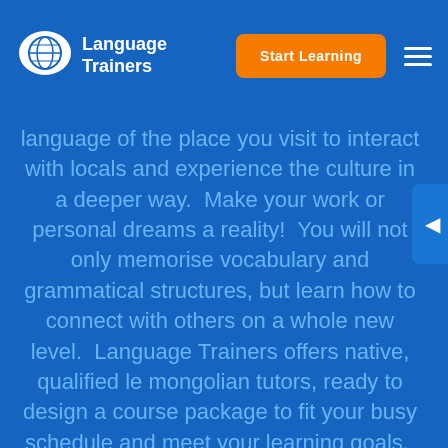Language Trainers — Start Learning
language of the place you visit to interact with locals and experience the culture in a deeper way.  Make your work or personal dreams a reality!  You will not only memorise vocabulary and grammatical structures, but learn how to connect with others on a whole new level.  Language Trainers offers native, qualified le mongolian tutors, ready to design a course package to fit your busy schedule and meet your learning goals.  Our awesome teachers are able to cater to your specific needs and preferences by implementing adjustments that favour your learning process.  Get started today by taking a free online le mongolian level test! And, when you finish, send us an enquiry so we can start designing a programme that suits your skills.  We will design a